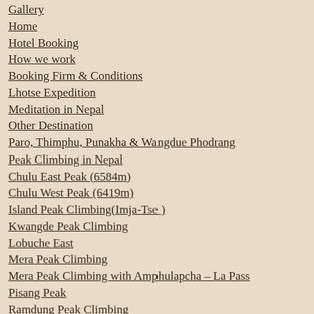Gallery
Home
Hotel Booking
How we work
Booking Firm & Conditions
Lhotse Expedition
Meditation in Nepal
Other Destination
Paro, Thimphu, Punakha & Wangdue Phodrang
Peak Climbing in Nepal
Chulu East Peak (6584m)
Chulu West Peak (6419m)
Island Peak Climbing(Imja-Tse )
Kwangde Peak Climbing
Lobuche East
Mera Peak Climbing
Mera Peak Climbing with Amphulapcha – La Pass
Pisang Peak
Ramdung Peak Climbing
Yala Peak Climbing
Personal Trekking & Tour Guide
Site Map
Tour In Nepal